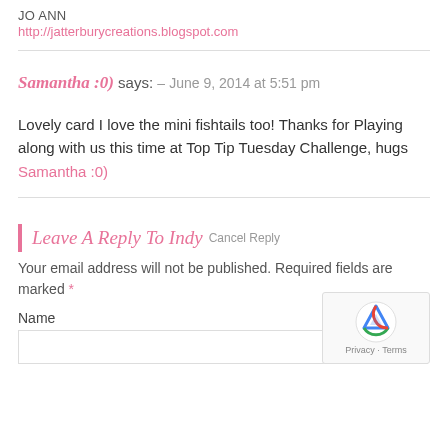JO ANN
http://jatterburycreations.blogspot.com
Samantha :0) says: – June 9, 2014 at 5:51 pm
Lovely card I love the mini fishtails too! Thanks for Playing along with us this time at Top Tip Tuesday Challenge, hugs Samantha :0)
Leave A Reply To Indy Cancel Reply
Your email address will not be published. Required fields are marked *
Name